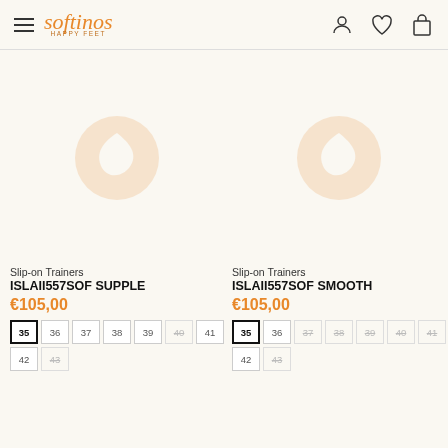softinos — navigation header with hamburger menu, logo, user icon, wishlist icon, cart icon
[Figure (other): Product image placeholder with softinos watermark logo for Slip-on Trainers ISLAII557SOF SUPPLE]
Slip-on Trainers
ISLAII557SOF SUPPLE
€105,00
Size options: 35 (selected), 36, 37, 38, 39, 40 (unavailable), 41, 42, 43 (unavailable)
[Figure (other): Product image placeholder with softinos watermark logo for Slip-on Trainers ISLAII557SOF SMOOTH]
Slip-on Trainers
ISLAII557SOF SMOOTH
€105,00
Size options: 35 (selected), 36, 37 (unavailable), 38 (unavailable), 39 (unavailable), 40 (unavailable), 41 (unavailable), 42, 43 (unavailable)